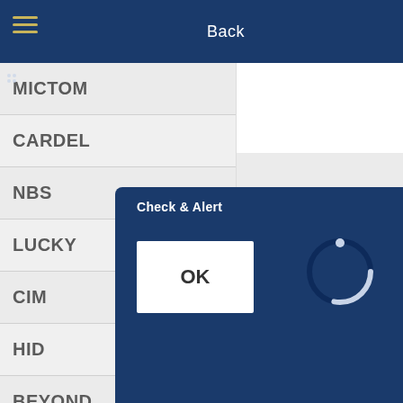Back
MICTOM
CARDEL
NBS
LUCKY
CIM
HID
BEYOND
U.S. PAPER COUNTERS
[Figure (screenshot): Dialog box overlay with OK button and spinner, on dark blue background with 'Check & Alert' text]